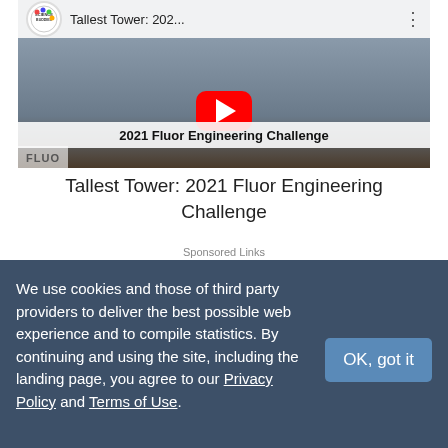[Figure (screenshot): YouTube video thumbnail showing '2021 Fluor Engineering Challenge' with play button, Science Buddies logo, and red YouTube play button overlay]
Tallest Tower: 2021 Fluor Engineering Challenge
Sponsored Links
[Figure (screenshot): Home Science Tools advertisement banner with logo and tagline 'inspired learning']
We use cookies and those of third party providers to deliver the best possible web experience and to compile statistics. By continuing and using the site, including the landing page, you agree to our Privacy Policy and Terms of Use.